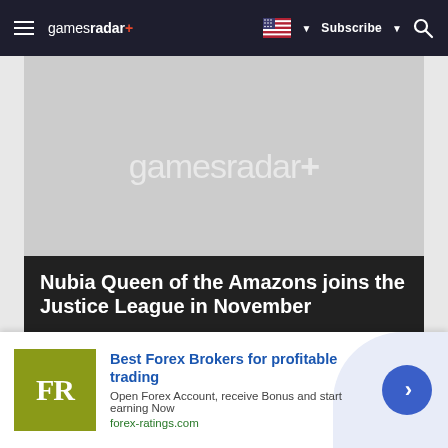gamesradar+  Subscribe  🔍
[Figure (screenshot): GamesRadar+ hero image placeholder showing the gamesradar+ watermark logo on a light gray background]
Nubia Queen of the Amazons joins the Justice League in November
By Samantha Puc 1 day ago
[Figure (screenshot): Second gray placeholder image strip below the article title bar]
[Figure (infographic): Advertisement banner: Best Forex Brokers for profitable trading. Open Forex Account, receive Bonus and start earning Now. forex-ratings.com. FR logo in olive/yellow-green square. Blue circle button with right arrow.]